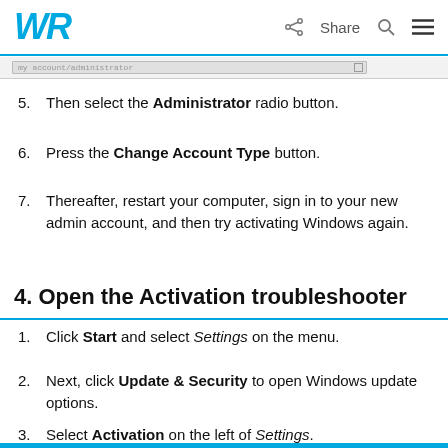WR  Share
[Figure (screenshot): Screenshot strip showing a dropdown or form field]
5. Then select the Administrator radio button.
6. Press the Change Account Type button.
7. Thereafter, restart your computer, sign in to your new admin account, and then try activating Windows again.
4. Open the Activation troubleshooter
1. Click Start and select Settings on the menu.
2. Next, click Update & Security to open Windows update options.
3. Select Activation on the left of Settings.